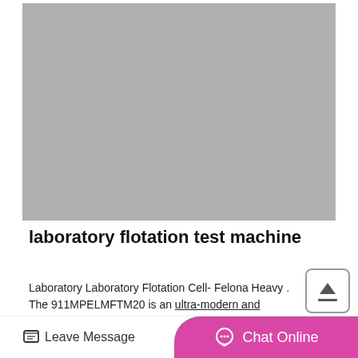[Figure (photo): Gray placeholder image area for laboratory flotation test machine product photo]
laboratory flotation test machine
Laboratory Laboratory Flotation Cell- Felona Heavy . The 911MPELMFTM20 is an ultra-modern and
Leave Message
Chat Online